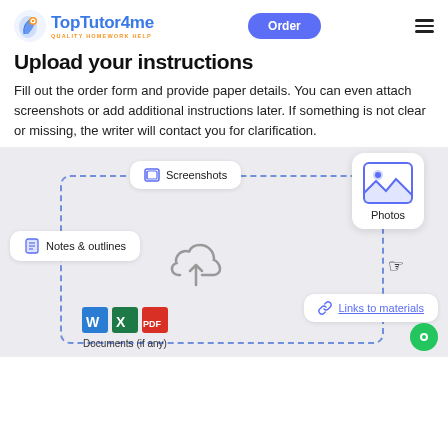TopTutor4me — QUALITY HOMEWORK HELP | Order
Upload your instructions
Fill out the order form and provide paper details. You can even attach screenshots or add additional instructions later. If something is not clear or missing, the writer will contact you for clarification.
[Figure (illustration): Illustration showing upload area with dashed border containing cards: Screenshots, Notes & outlines, Documents (if any) with Word/Excel/PDF icons, Photos card with image icon, Links to materials card, and a cloud upload icon in center. A pointing hand cursor icon is shown near the Photos card.]